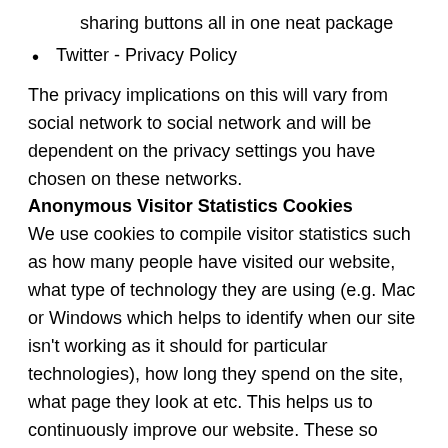sharing buttons all in one neat package
Twitter - Privacy Policy
The privacy implications on this will vary from social network to social network and will be dependent on the privacy settings you have chosen on these networks.
Anonymous Visitor Statistics Cookies
We use cookies to compile visitor statistics such as how many people have visited our website, what type of technology they are using (e.g. Mac or Windows which helps to identify when our site isn't working as it should for particular technologies), how long they spend on the site, what page they look at etc. This helps us to continuously improve our website. These so called analytics programs also tell us if , on an anonymous basis, how people reached this site (e.g. from a search engine) and whether they have been here before helping